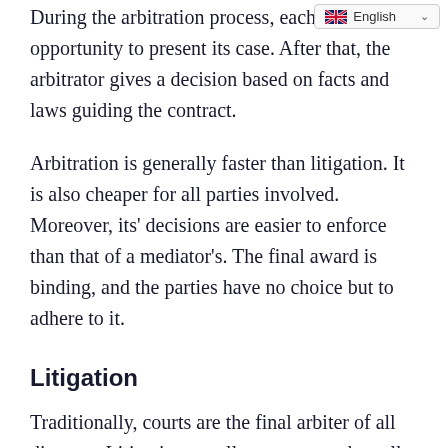During the arbitration process, each party has an opportunity to present its case. After that, the arbitrator gives a decision based on facts and laws guiding the contract.
Arbitration is generally faster than litigation. It is also cheaper for all parties involved. Moreover, its' decisions are easier to enforce than that of a mediator's. The final award is binding, and the parties have no choice but to adhere to it.
Litigation
Traditionally, courts are the final arbiter of all disputes. Litigation usually comes on when all other options have failed. The parties may also resort to litigation if